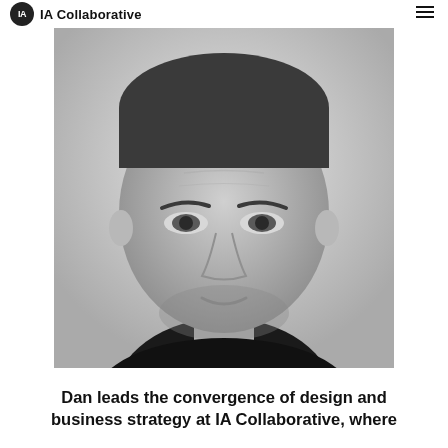IA Collaborative
[Figure (photo): Black and white close-up portrait photo of a middle-aged man with short dark hair and stubble beard, wearing a black t-shirt, looking directly at the camera with a slight smile.]
Dan leads the convergence of design and business strategy at IA Collaborative, where